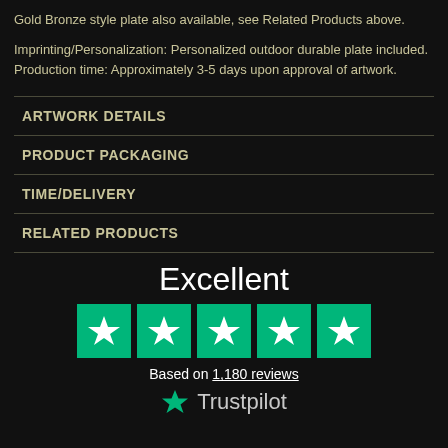Gold Bronze style plate also available, see Related Products above.
Imprinting/Personalization: Personalized outdoor durable plate included. Production time: Approximately 3-5 days upon approval of artwork.
ARTWORK DETAILS
PRODUCT PACKAGING
TIME/DELIVERY
RELATED PRODUCTS
Excellent
[Figure (other): Five green Trustpilot star rating boxes]
Based on 1,180 reviews
[Figure (logo): Trustpilot logo with green star and Trustpilot text]